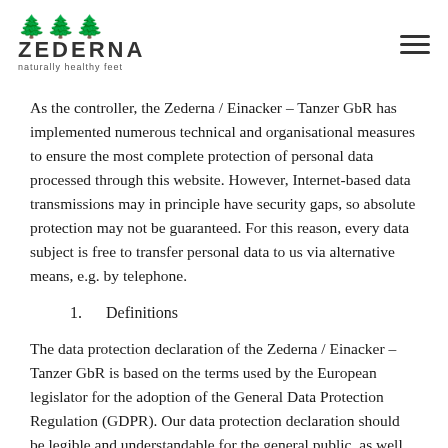ZEDERNA naturally healthy feet
As the controller, the Zederna / Einacker – Tanzer GbR has implemented numerous technical and organisational measures to ensure the most complete protection of personal data processed through this website. However, Internet-based data transmissions may in principle have security gaps, so absolute protection may not be guaranteed. For this reason, every data subject is free to transfer personal data to us via alternative means, e.g. by telephone.
1.      Definitions
The data protection declaration of the Zederna / Einacker – Tanzer GbR is based on the terms used by the European legislator for the adoption of the General Data Protection Regulation (GDPR). Our data protection declaration should be legible and understandable for the general public, as well as our